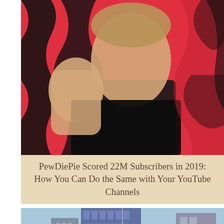[Figure (photo): PewDiePie giving a thumbs up gesture, wearing a black sweater and gold chain bracelet, against a vivid red and black zebra-stripe patterned background.]
PewDiePie Scored 22M Subscribers in 2019: How You Can Do the Same with Your YouTube Channels
[Figure (photo): Two men standing in front of city buildings. On the left is a Black man, on the right is a lighter-skinned man with grey hair. Urban skyline and palm trees visible in the background.]